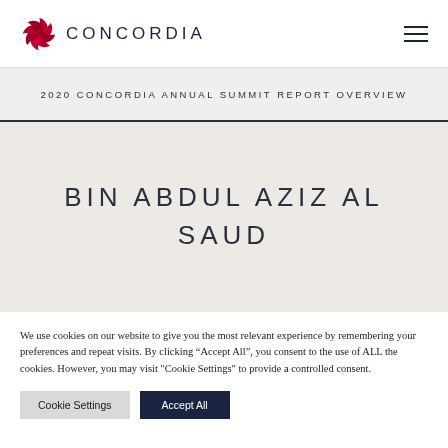CONCORDIA
2020 CONCORDIA ANNUAL SUMMIT REPORT OVERVIEW
BIN ABDUL AZIZ AL SAUD
We use cookies on our website to give you the most relevant experience by remembering your preferences and repeat visits. By clicking “Accept All”, you consent to the use of ALL the cookies. However, you may visit "Cookie Settings" to provide a controlled consent.
Cookie Settings | Accept All